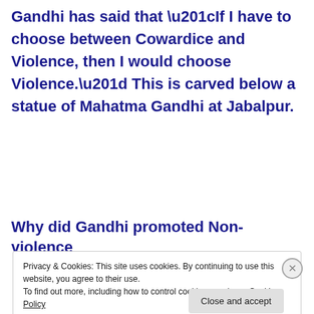Gandhi has said that “If I have to choose between Cowardice and Violence, then I would choose Violence.” This is carved below a statue of Mahatma Gandhi at Jabalpur.
Why did Gandhi promoted Non-violence
Privacy & Cookies: This site uses cookies. By continuing to use this website, you agree to their use.
To find out more, including how to control cookies, see here: Cookie Policy